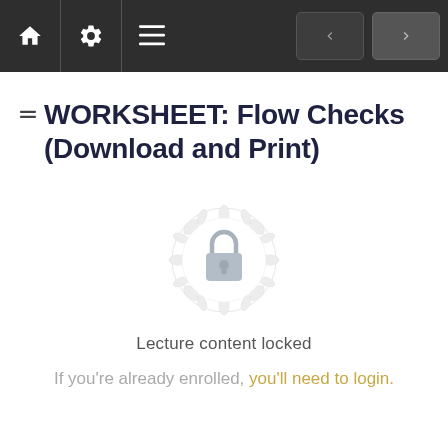Navigation bar with home, settings, menu icons and previous/next buttons
WORKSHEET: Flow Checks (Download and Print)
[Figure (illustration): A decorative lock icon badge — a padlock centered on a circular mandala/rosette pattern in light gray, indicating locked content]
Lecture content locked
If you're already enrolled, you'll need to login.